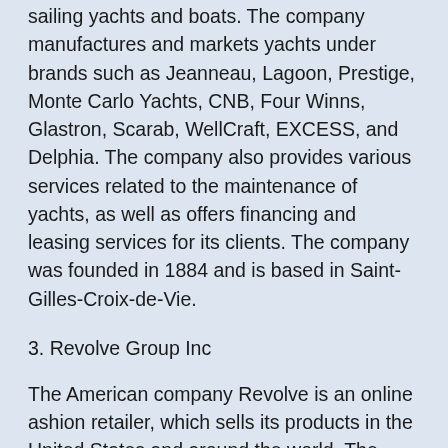sailing yachts and boats. The company manufactures and markets yachts under brands such as Jeanneau, Lagoon, Prestige, Monte Carlo Yachts, CNB, Four Winns, Glastron, Scarab, WellCraft, EXCESS, and Delphia. The company also provides various services related to the maintenance of yachts, as well as offers financing and leasing services for its clients. The company was founded in 1884 and is based in Saint-Gilles-Croix-de-Vie.
3. Revolve Group Inc
The American company Revolve is an online ashion retailer, which sells its products in the United States and around the world. The company offers women's clothing, footwear,